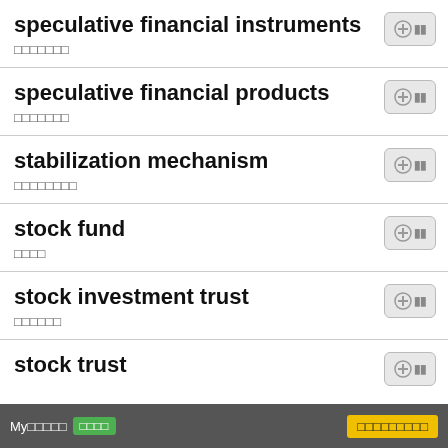speculative financial instruments / □□□□□□□
speculative financial products / □□□□□□□
stabilization mechanism / □□□□□□□□
stock fund / □□□□
stock investment trust / □□□□□□
stock trust (partial)
My□□□□□ □□□□  □□□□□□□□□